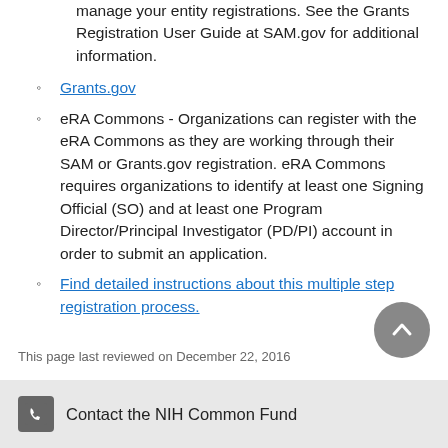manage your entity registrations. See the Grants Registration User Guide at SAM.gov for additional information.
Grants.gov
eRA Commons - Organizations can register with the eRA Commons as they are working through their SAM or Grants.gov registration. eRA Commons requires organizations to identify at least one Signing Official (SO) and at least one Program Director/Principal Investigator (PD/PI) account in order to submit an application.
Find detailed instructions about this multiple step registration process.
This page last reviewed on December 22, 2016
Contact the NIH Common Fund